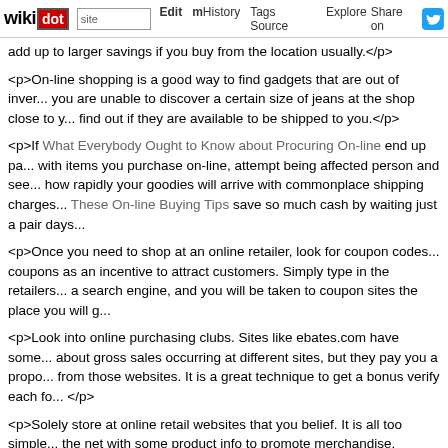wikidot | site | Edit | History | Tags | Source | Explore | Share on [Twitter]
add up to larger savings if you buy from the location usually.</p>
<p>On-line shopping is a good way to find gadgets that are out of inver... you are unable to discover a certain size of jeans at the shop close to y... find out if they are available to be shipped to you.</p>
<p>If What Everybody Ought to Know about Procuring On-line end up pa... with items you purchase on-line, attempt being affected person and see... how rapidly your goodies will arrive with commonplace shipping charges... These On-line Buying Tips save so much cash by waiting just a pair days...
<p>Once you need to shop at an online retailer, look for coupon codes... coupons as an incentive to attract customers. Simply type in the retailers... a search engine, and you will be taken to coupon sites the place you will g...
<p>Look into online purchasing clubs. Sites like ebates.com have some... about gross sales occurring at different sites, but they pay you a propo... from those websites. It is a great technique to get a bonus verify each fo... </p>
<p>Solely store at online retail websites that you belief. It is all too simple... the net with some product info to promote merchandise. Perform a little... you present any bank card information. It will assist you avoid any scams...
<p>Do not just go to 1 online merchant to buy a product. Do some worth... the product prices together with shipping prices and their return policy. W... that you will buy from a retailer whom you can count on.</p>
<p>Looking is the key to saving cash with on-line procuring. Do a sear... should compared to recognized places like Google or search...